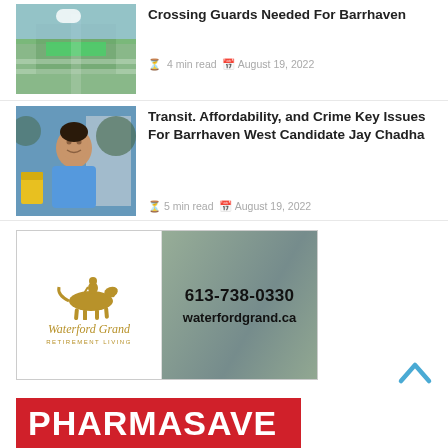[Figure (photo): Aerial or street-level view of a crosswalk with green bike lane markings]
Crossing Guards Needed For Barrhaven
4 min read  August 19, 2022
[Figure (photo): Man in blue t-shirt standing outside, smiling]
Transit. Affordability, and Crime Key Issues For Barrhaven West Candidate Jay Chadha
5 min read  August 19, 2022
[Figure (logo): Waterford Grand Retirement Living advertisement banner with horse logo, phone 613-738-0330 and website waterfordgrand.ca]
[Figure (logo): Pharmasave red logo banner at bottom of page]